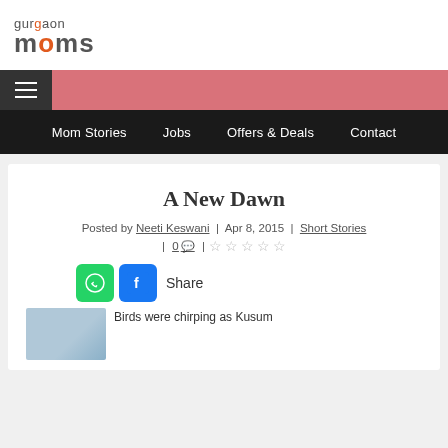[Figure (logo): Gurgaon Moms logo with orange accent letters]
Mom Stories | Jobs | Offers & Deals | Contact
A New Dawn
Posted by Neeti Keswani | Apr 8, 2015 | Short Stories | 0 comments | (star rating)
Share
Birds were chirping as Kusum